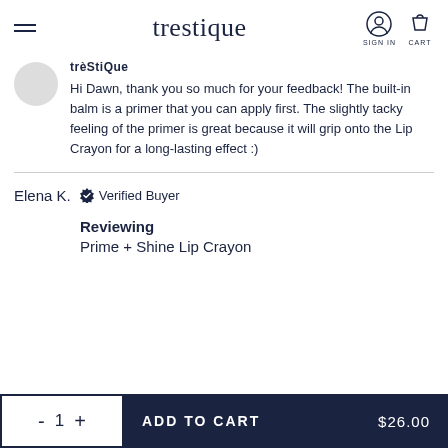trestique
trèStiQue
Hi Dawn, thank you so much for your feedback! The built-in balm is a primer that you can apply first. The slightly tacky feeling of the primer is great because it will grip onto the Lip Crayon for a long-lasting effect :)
Elena K.  Verified Buyer
Reviewing
Prime + Shine Lip Crayon
ADD TO CART  $26.00